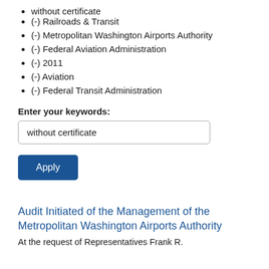without certificate
(-) Railroads & Transit
(-) Metropolitan Washington Airports Authority
(-) Federal Aviation Administration
(-) 2011
(-) Aviation
(-) Federal Transit Administration
Enter your keywords:
without certificate
Apply
Audit Initiated of the Management of the Metropolitan Washington Airports Authority
At the request of Representatives Frank R.